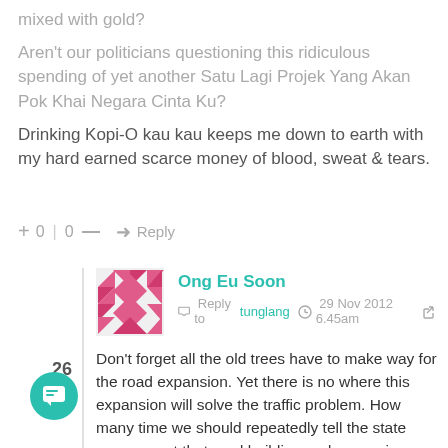mixed with gold? Aren't our politicians questioning this ridiculous spending of yet another Satu Lagi Projek Yang Akan Pok Khai Negara Cinta Ku?
Drinking Kopi-O kau kau keeps me down to earth with my hard earned scarce money of blood, sweat & tears.
+ 0 | 0 — ➜ Reply
[Figure (illustration): User avatar: pink diamond/chevron pattern logo for Ong Eu Soon]
Ong Eu Soon
Reply to tunglang  29 Nov 2012 6.45am
Don't forget all the old trees have to make way for the road expansion. Yet there is no where this expansion will solve the traffic problem. How many time we should repeatedly tell the state government that road building and expansion are not the right solution. We need a better public bus transit system to solve the problem. The RM780m is sufficient enough to implement the proposals in my Penang Citizen Alternative Transit Initiative. IoE as